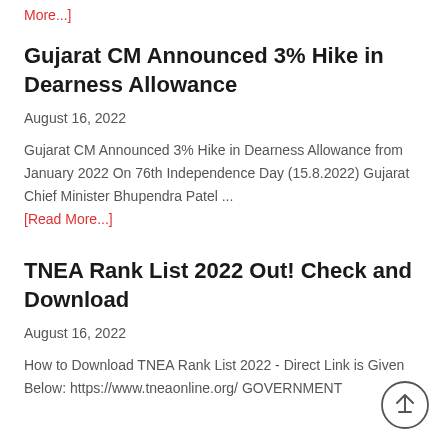More...]
Gujarat CM Announced 3% Hike in Dearness Allowance
August 16, 2022
Gujarat CM Announced 3% Hike in Dearness Allowance from January 2022 On 76th Independence Day (15.8.2022) Gujarat Chief Minister Bhupendra Patel ... [Read More...]
TNEA Rank List 2022 Out! Check and Download
August 16, 2022
How to Download TNEA Rank List 2022 - Direct Link is Given Below: https://www.tneaonline.org/ GOVERNMENT